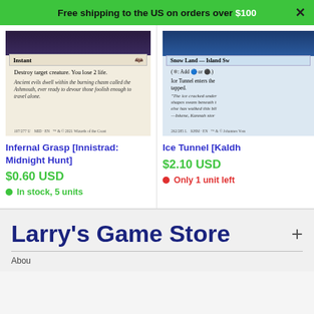Free shipping to the US on orders over $100
[Figure (photo): Magic: The Gathering card - Infernal Grasp [Innistrad: Midnight Hunt], an Instant card showing destroy target creature, you lose 2 life.]
Infernal Grasp [Innistrad: Midnight Hunt]
$0.60 USD
In stock, 5 units
[Figure (photo): Magic: The Gathering card - Ice Tunnel [Kaldheim], a Snow Land card partially visible.]
Ice Tunnel [Kaldh...
$2.10 USD
Only 1 unit left
Larry's Game Store